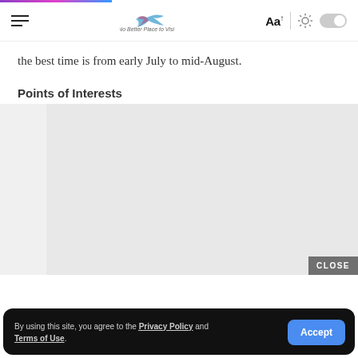Navigation bar with hamburger menu, logo, Aa font size control, brightness toggle
the best time is from early July to mid-August.
Points of Interests
[Figure (other): Gray placeholder rectangle representing an image or advertisement content area with a CLOSE button]
By using this site, you agree to the Privacy Policy and Terms of Use.